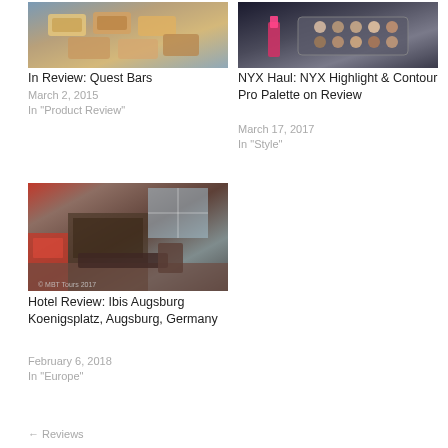[Figure (photo): Photo of Quest protein bars stacked in packaging]
In Review: Quest Bars
March 2, 2015
In "Product Review"
[Figure (photo): Photo of NYX cosmetics including lipstick and eyeshadow palette]
NYX Haul: NYX Highlight & Contour Pro Palette on Review
March 17, 2017
In "Style"
[Figure (photo): Interior photo of Ibis hotel lobby/lounge area with red accents]
Hotel Review: Ibis Augsburg Koenigsplatz, Augsburg, Germany
February 6, 2018
In "Europe"
← Reviews